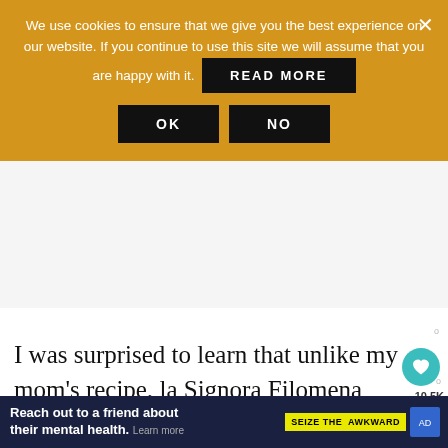We use cookies to ensure that we give you the best experience on our website. If you continue to use this site we will assume that you are happy with it. READ MORE
OK
NO
I was surprised to learn that unlike my mom's recipe, la Signora Filomena does not slit her taralli.
WHAT'S NEXT → Glazed Italian Egg Taralli
Bake in a preheated oven at 425° F for about 5 minutes; then reduce to 400° F (2
Reach out to a friend about their mental health. Learn more | SEIZE THE AWKWARD